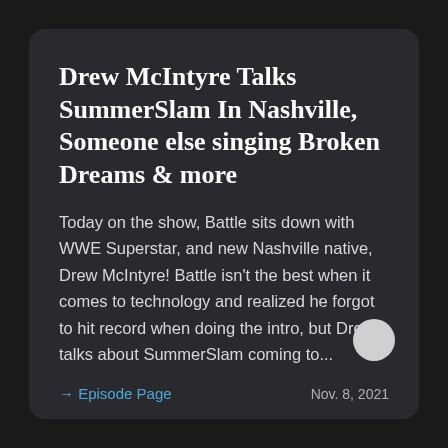Drew McIntyre Talks SummerSlam In Nashville, Someone else singing Broken Dreams & more
Today on the show, Battle sits down with WWE Superstar, and new Nashville native, Drew McIntyre! Battle isn't the best when it comes to technology and realized he forgot to hit record when doing the intro, but Drew talks about SummerSlam coming to...
→ Episode Page
Nov. 8, 2021